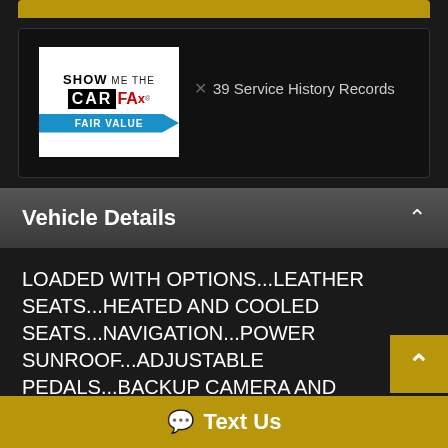[Figure (logo): SHOW ME THE CARFAX - FAIR VALUE logo]
39 Service History Records
Vehicle Details
LOADED WITH OPTIONS...LEATHER SEATS...HEATED AND COOLED SEATS...NAVIGATION...POWER SUNROOF...ADJUSTABLE PEDALS...BACKUP CAMERA AND SONAR...DUAL POWER SEATS...SPRAY-IN BEDLINER...TONNEAU COVER...TOW PACKAGE...SUSPENSION LIFT...20 WHEELS...GOOD TIRES...84 MONTHS
Text Us